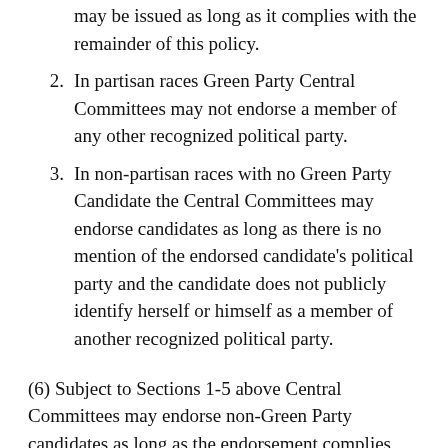may be issued as long as it complies with the remainder of this policy.
2. In partisan races Green Party Central Committees may not endorse a member of any other recognized political party.
3. In non-partisan races with no Green Party Candidate the Central Committees may endorse candidates as long as there is no mention of the endorsed candidate’s political party and the candidate does not publicly identify herself or himself as a member of another recognized political party.
(6) Subject to Sections 1-5 above Central Committees may endorse non-Green Party candidates as long as the endorsement complies with the remaining provisions of